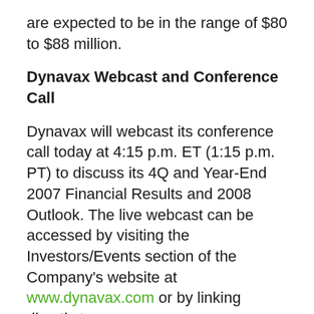are expected to be in the range of $80 to $88 million.
Dynavax Webcast and Conference Call
Dynavax will webcast its conference call today at 4:15 p.m. ET (1:15 p.m. PT) to discuss its 4Q and Year-End 2007 Financial Results and 2008 Outlook. The live webcast can be accessed by visiting the Investors/Events section of the Company's website at www.dynavax.com or by linking directly to http://investors.dynavax.com/events.cfm. A replay of the webcast will be available on the Dynavax web site approximately two hours after the call is completed and will be archived